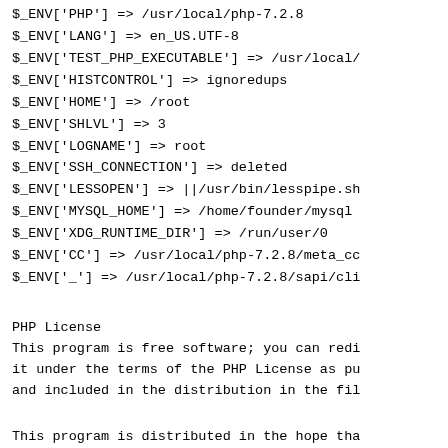$_ENV['PHP'] => /usr/local/php-7.2.8
$_ENV['LANG'] => en_US.UTF-8
$_ENV['TEST_PHP_EXECUTABLE'] => /usr/local/
$_ENV['HISTCONTROL'] => ignoredups
$_ENV['HOME'] => /root
$_ENV['SHLVL'] => 3
$_ENV['LOGNAME'] => root
$_ENV['SSH_CONNECTION'] => deleted
$_ENV['LESSOPEN'] => ||/usr/bin/lesspipe.sh
$_ENV['MYSQL_HOME'] => /home/founder/mysql
$_ENV['XDG_RUNTIME_DIR'] => /run/user/0
$_ENV['CC'] => /usr/local/php-7.2.8/meta_cc
$_ENV['_'] => /usr/local/php-7.2.8/sapi/cli
PHP License
This program is free software; you can redi
it under the terms of the PHP License as pu
and included in the distribution in the fil
This program is distributed in the hope tha